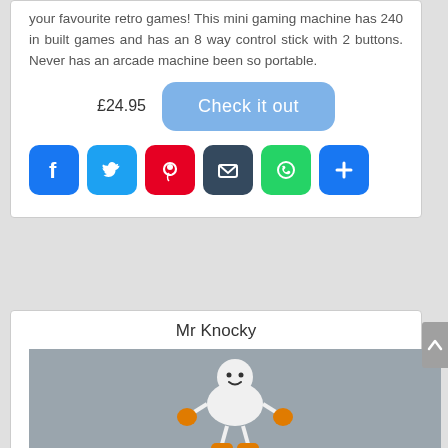your favourite retro games! This mini gaming machine has 240 in built games and has an 8 way control stick with 2 buttons. Never has an arcade machine been so portable.
£24.95  Check it out
[Figure (infographic): Social sharing icons: Facebook (blue), Twitter (light blue), Pinterest (red), Email (dark blue), WhatsApp (green), Share/Plus (blue)]
Mr Knocky
[Figure (photo): Photo of Mr Knocky toy - a white robot figure with a smiley face, orange hands and orange cylindrical feet/shoes, standing against a grey background]